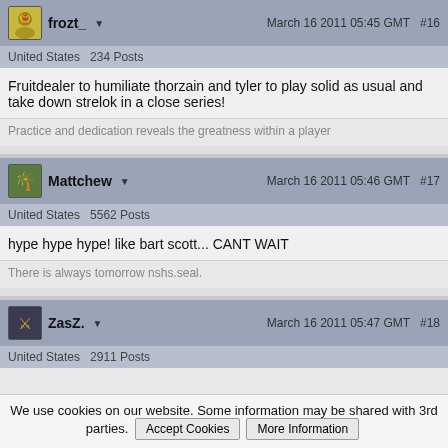frozt_   March 16 2011 05:45 GMT  #16
United States  234 Posts
Fruitdealer to humiliate thorzain and tyler to play solid as usual and take down strelok in a close series!
Practice and dedication reveals the greatness within a player
Mattchew   March 16 2011 05:46 GMT  #17
United States  5562 Posts
hype hype hype! like bart scott... CANT WAIT
There is always tomorrow nshs.seal.
ZasZ.   March 16 2011 05:47 GMT  #18
United States  2911 Posts
We use cookies on our website. Some information may be shared with 3rd parties.